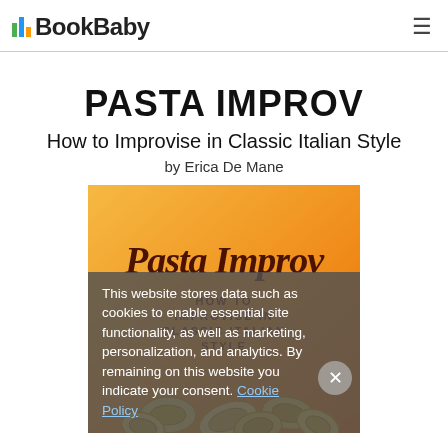BookBaby
PASTA IMPROV
How to Improvise in Classic Italian Style
by Erica De Mane
[Figure (photo): Book cover for 'Pasta Improv: How to Improvise in Classic Italian Style' by Erica De Mane. Orange gradient background with script title 'Pasta Improv' and subtitle text. Bottom shows pasta (rigatoni/tube pasta) image.]
This website stores data such as cookies to enable essential site functionality, as well as marketing, personalization, and analytics. By remaining on this website you indicate your consent. Cookie Policy